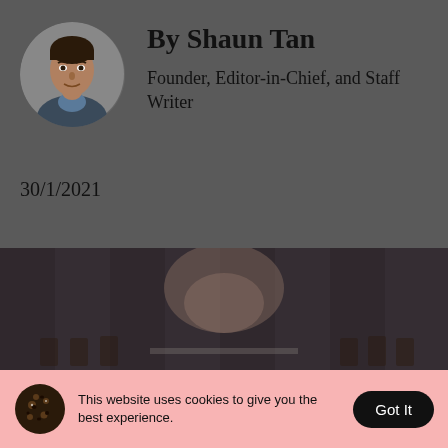By Shaun Tan
Founder, Editor-in-Chief, and Staff Writer
30/1/2021
[Figure (photo): A wedding or banquet hall decorated with floral arrangements, chairs, and draping curtains — darkened/dimmed photo]
This website uses cookies to give you the best experience.